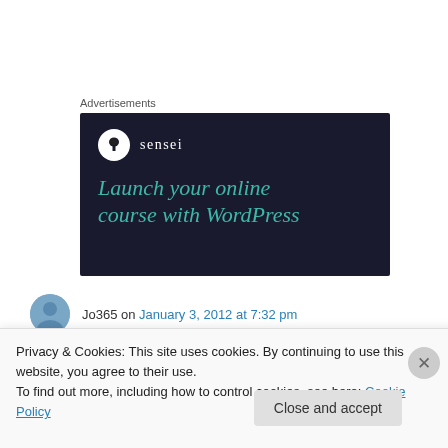Advertisements
[Figure (illustration): Sensei advertisement banner on dark navy background. Shows Sensei logo (circle with tree icon and 'sensei' text) and tagline 'Launch your online course with WordPress' in teal/aqua italic serif font.]
Jo365 on January 3, 2012 at 7:32 pm
Privacy & Cookies: This site uses cookies. By continuing to use this website, you agree to their use.
To find out more, including how to control cookies, see here: Cookie Policy
Close and accept